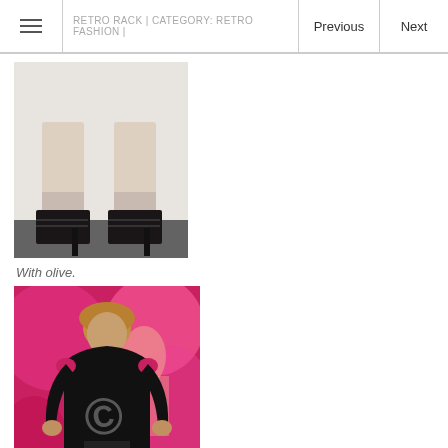RETRO RACK | CATEGORY: RETRO FASHION | Previous  Next
[Figure (photo): Close-up photo of a person's legs from the knees down wearing black strappy high-heel shoes/booties, standing on pavement.]
With olive.
[Figure (photo): Woman with blonde wavy hair wearing a black wrap-style top with cold shoulders and a black-and-white patterned skirt, posing at what appears to be a fashion show with a colorful pink/magenta background. A copyright watermark is visible.]